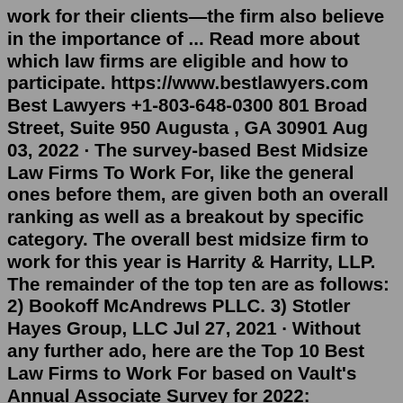work for their clients—the firm also believe in the importance of ... Read more about which law firms are eligible and how to participate. https://www.bestlawyers.com Best Lawyers +1-803-648-0300 801 Broad Street, Suite 950 Augusta , GA 30901 Aug 03, 2022 · The survey-based Best Midsize Law Firms To Work For, like the general ones before them, are given both an overall ranking as well as a breakout by specific category. The overall best midsize firm to work for this year is Harrity & Harrity, LLP. The remainder of the top ten are as follows: 2) Bookoff McAndrews PLLC. 3) Stotler Hayes Group, LLC Jul 27, 2021 · Without any further ado, here are the Top 10 Best Law Firms to Work For based on Vault's Annual Associate Survey for 2022: McDermott Will & Emery O'Melveny & Myers Clifford Chance US Orrick... Aug 09, 2021 · Notably, the top six firms in the Best to Work For category all received scores above 9.000. Vault's top 10 2022 Best Law Firms to Work For are: #1 McDermott Will & Emery #2 O'Melveny & Myers LLP 2. Writing that